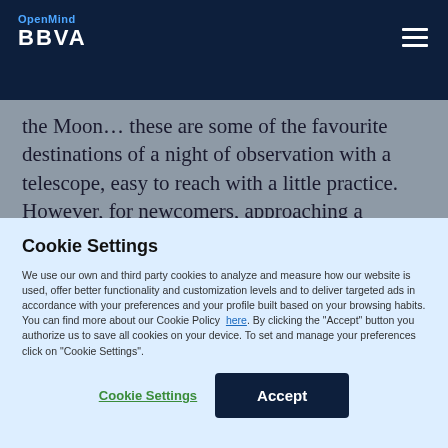OpenMind BBVA
the Moon… these are some of the favourite destinations of a night of observation with a telescope, easy to reach with a little practice. However, for newcomers, approaching a telescope often raises a sea of doubts:
Cookie Settings
We use our own and third party cookies to analyze and measure how our website is used, offer better functionality and customization levels and to deliver targeted ads in accordance with your preferences and your profile built based on your browsing habits. You can find more about our Cookie Policy here. By clicking the "Accept" button you authorize us to save all cookies on your device. To set and manage your preferences click on "Cookie Settings".
Cookie Settings | Accept